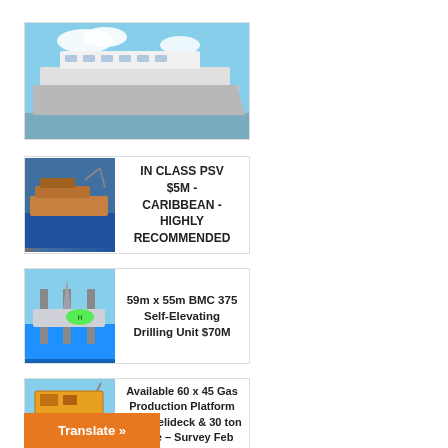[Figure (photo): Large white passenger/cruise ship on water with blue sky]
[Figure (photo): Orange/rust colored PSV (Platform Supply Vessel) offshore ship]
IN CLASS PSV $5M - CARIBBEAN - HIGHLY RECOMMENDED
[Figure (photo): Self-elevating drilling unit/jack-up rig at sea with green helipad]
59m x 55m BMC 375 Self-Elevating Drilling Unit $70M
[Figure (photo): Yellow gas production platform offshore]
Available 60 x 45 Gas Production Platform 2010 Helideck & 30 ton Crane – Survey Feb 2022 Contact us for Price on Price
Translate »